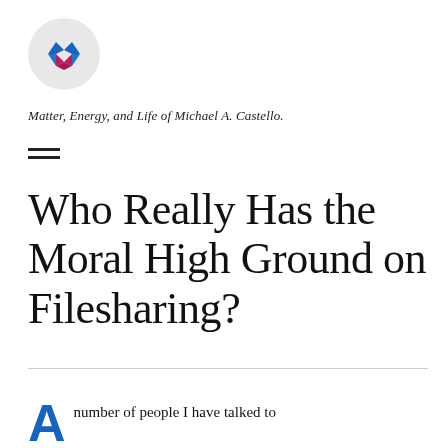[Figure (logo): Circular logo with a stylized M/W shape in blue and pink/magenta on a light gray circle background]
Matter, Energy, and Life of Michael A. Castello.
[Figure (other): Hamburger menu icon — two horizontal lines]
Who Really Has the Moral High Ground on Filesharing?
number of people I have talked to